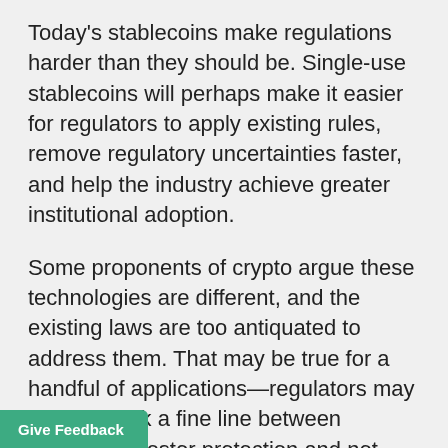Today's stablecoins make regulations harder than they should be. Single-use stablecoins will perhaps make it easier for regulators to apply existing rules, remove regulatory uncertainties faster, and help the industry achieve greater institutional adoption.
Some proponents of crypto argue these technologies are different, and the existing laws are too antiquated to address them. That may be true for a handful of applications—regulators may need to walk a fine line between ensuring investor protection and not imposing the full suite of regulatory burdens designed for mature financial products on these products and uses such that it stifles innovation. But the vast majority of blockchain applications achieve the same objectives as their predecessors, but more efficiently. The behaviors and incentives of those market participants are still identical as before, which existing US federal securities and financial regulations are adept at addressing.